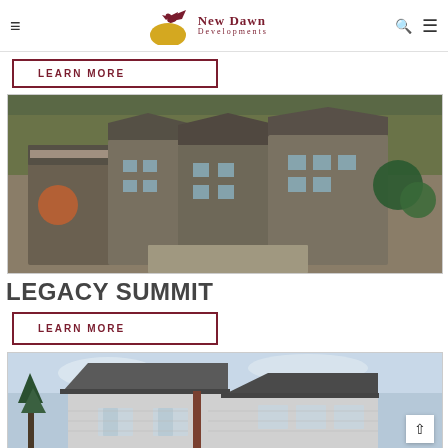New Dawn Developments
LEARN MORE
[Figure (photo): Aerial rendering of Legacy Summit townhome development showing multiple multi-story residential buildings with rooftop patios surrounded by autumn trees]
LEGACY SUMMIT
LEARN MORE
[Figure (photo): Exterior photo of a modern residential home with grey siding, dark accents, and overcast sky background]